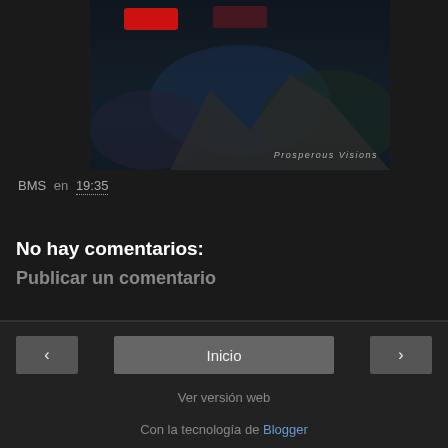[Figure (photo): Album cover or promotional image with red logo at top, dark mountainous background with text 'Prosperous Visions' in the lower right]
BMS en 19:35
Compartir
No hay comentarios:
Publicar un comentario
‹  Inicio  ›  Ver versión web  Con la tecnología de Blogger